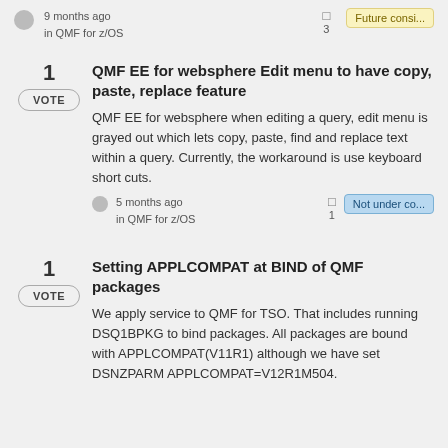9 months ago in QMF for z/OS | 3 | Future consi...
1 VOTE | QMF EE for websphere Edit menu to have copy, paste, replace feature | QMF EE for websphere when editing a query, edit menu is grayed out which lets copy, paste, find and replace text within a query. Currently, the workaround is use keyboard short cuts. | 5 months ago in QMF for z/OS | 1 | Not under co...
1 VOTE | Setting APPLCOMPAT at BIND of QMF packages | We apply service to QMF for TSO. That includes running DSQ1BPKG to bind packages. All packages are bound with APPLCOMPAT(V11R1) although we have set DSNZPARM APPLCOMPAT=V12R1M504.